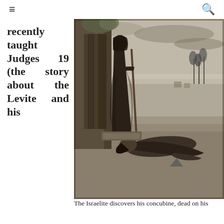☰  🔍
recently taught Judges 19 (the story about the Levite and his
[Figure (illustration): Black and white engraving depicting an Israelite man standing in a doorway holding a staff, looking down at a woman lying prostrate on the ground at his feet, with a bleak landscape in the background. Artist signatures visible at bottom left and right.]
The Israelite discovers his concubine, dead on his